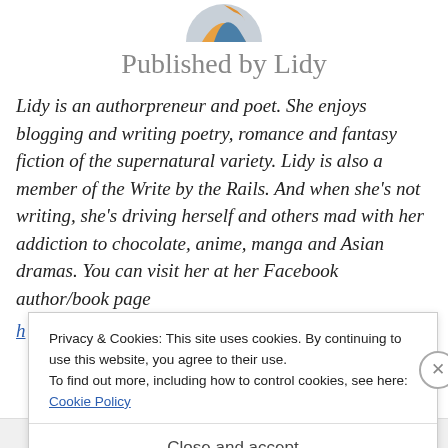[Figure (illustration): Partial circular avatar/logo image cropped at top, showing orange and blue/grey colors]
Published by Lidy
Lidy is an authorpreneur and poet. She enjoys blogging and writing poetry, romance and fantasy fiction of the supernatural variety. Lidy is also a member of the Write by the Rails. And when she’s not writing, she’s driving herself and others mad with her addiction to chocolate, anime, manga and Asian dramas. You can visit her at her Facebook author/book page
Privacy & Cookies: This site uses cookies. By continuing to use this website, you agree to their use.
To find out more, including how to control cookies, see here: Cookie Policy
Close and accept